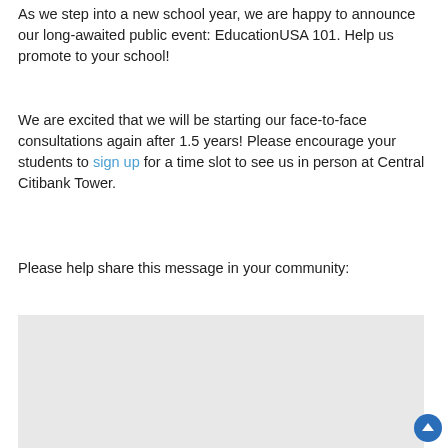As we step into a new school year, we are happy to announce our long-awaited public event: EducationUSA 101. Help us promote to your school!
We are excited that we will be starting our face-to-face consultations again after 1.5 years! Please encourage your students to sign up for a time slot to see us in person at Central Citibank Tower.
Please help share this message in your community:
[Figure (illustration): EducationUSA promotional banner showing the EducationUSA logo with a star, US flag, US Department of State seal, and text reading 'EducationUSA 101 : Intro to U.S. Higher Education' on a light grey background with a dark blue corner and red wave at bottom.]